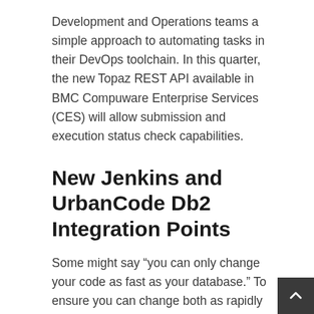Development and Operations teams a simple approach to automating tasks in their DevOps toolchain. In this quarter, the new Topaz REST API available in BMC Compuware Enterprise Services (CES) will allow submission and execution status check capabilities.
New Jenkins and UrbanCode Db2 Integration Points
Some might say “you can only change your code as fast as your database.” To ensure you can change both as rapidly as you need in your DevOps toolchain, we are offering new integration points for BMC AMI Data products.
A new plugin extends Db2 schema change management, allowing UrbanCode to orchestrate database changes